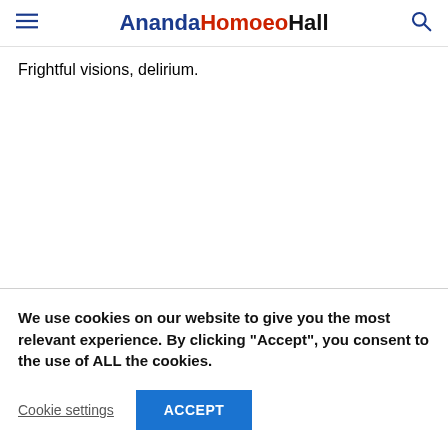AnandaHomoeoHall
Frightful visions, delirium.
We use cookies on our website to give you the most relevant experience. By clicking “Accept”, you consent to the use of ALL the cookies.